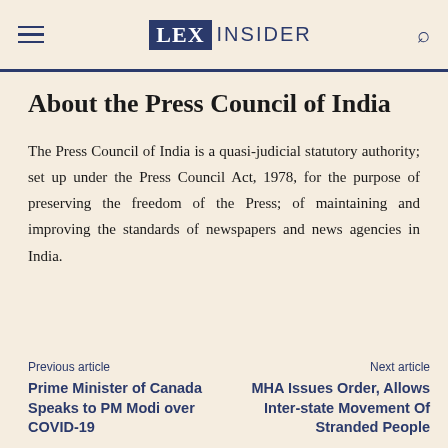LEX INSIDER
About the Press Council of India
The Press Council of India is a quasi-judicial statutory authority; set up under the Press Council Act, 1978, for the purpose of preserving the freedom of the Press; of maintaining and improving the standards of newspapers and news agencies in India.
Previous article: Prime Minister of Canada Speaks to PM Modi over COVID-19 | Next article: MHA Issues Order, Allows Inter-state Movement Of Stranded People